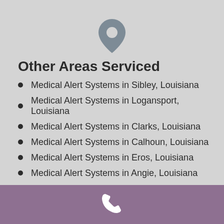[Figure (illustration): Gray map pin / location marker icon centered near top of page]
Other Areas Serviced
Medical Alert Systems in Sibley, Louisiana
Medical Alert Systems in Logansport, Louisiana
Medical Alert Systems in Clarks, Louisiana
Medical Alert Systems in Calhoun, Louisiana
Medical Alert Systems in Eros, Louisiana
Medical Alert Systems in Angie, Louisiana
[Figure (illustration): White telephone handset icon centered in purple/mauve footer bar]